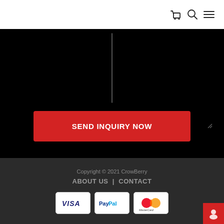Navigation bar with cart, search, and menu icons
[Figure (screenshot): Black textarea input box with dark border for inquiry text]
SEND INQUIRY NOW
Copyright © 2021 CrowBerry   ABOUT US  |  CONTACT
[Figure (logo): VISA payment logo]
[Figure (logo): PayPal payment logo]
[Figure (logo): Mastercard payment logo]